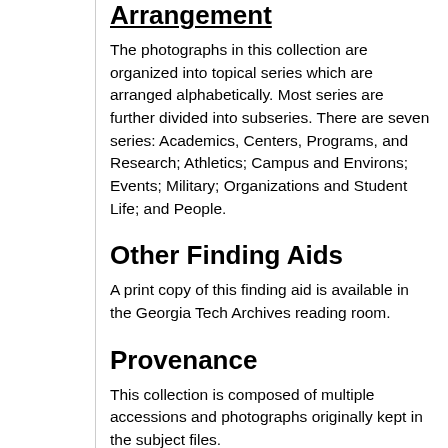Arrangement
The photographs in this collection are organized into topical series which are arranged alphabetically. Most series are further divided into subseries. There are seven series: Academics, Centers, Programs, and Research; Athletics; Campus and Environs; Events; Military; Organizations and Student Life; and People.
Other Finding Aids
A print copy of this finding aid is available in the Georgia Tech Archives reading room.
Provenance
This collection is composed of multiple accessions and photographs originally kept in the subject files.
Accruals
This collection may receive additional accessions in the future. These materials will be added to the